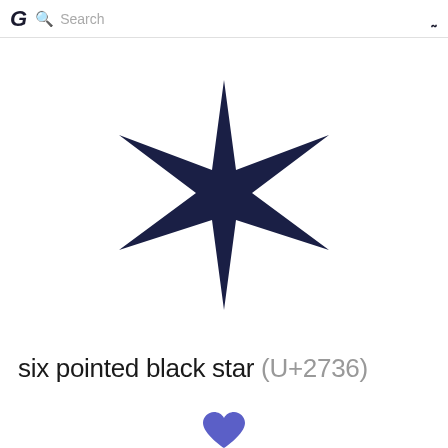G  Search
[Figure (illustration): Six pointed black star symbol (U+2736), dark navy color, centered on white background]
six pointed black star (U+2736)
[Figure (illustration): Purple/blue heart icon at bottom center]